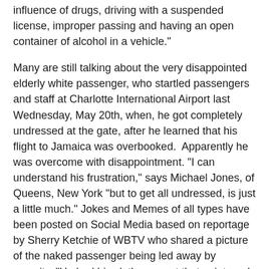influence of drugs, driving with a suspended license, improper passing and having an open container of alcohol in a vehicle."
Many are still talking about the very disappointed elderly white passenger, who startled passengers and staff at Charlotte International Airport last Wednesday, May 20th, when, he got completely undressed at the gate, after he learned that his flight to Jamaica was overbooked.  Apparently he was overcome with disappointment. "I can understand his frustration," says Michael Jones, of Queens, New York "but to get all undressed, is just a little much." Jokes and Memes of all types have been posted on Social Media based on reportage by Sherry Ketchie of WBTV who shared a picture of the naked passenger being led away by security. "He had his clothes on, at that point, and then he started standing there with his arms crossed and hollering at the lady at the desk," Ketchie reported. "He stood there for a moment and then started taking off his clothes. I ain't never seen nothing like that in my life" she said. Reports from authorities are that the passenger will not be charged.
Kudos to Toronto's own roots reggae sensation Tasha T in her capacity as Musical Ambassador for  the twelve year old Road Across Jamaica Foundation, headed by CEO